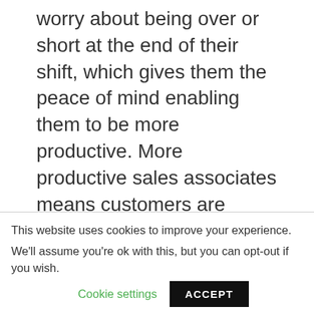worry about being over or short at the end of their shift, which gives them the peace of mind enabling them to be more productive. More productive sales associates means customers are better served.
A Better Merchandised Store
Customers prefer to shop in a store that is consistently clean, orderly,
This website uses cookies to improve your experience.

We'll assume you're ok with this, but you can opt-out if you wish.
Cookie settings
ACCEPT